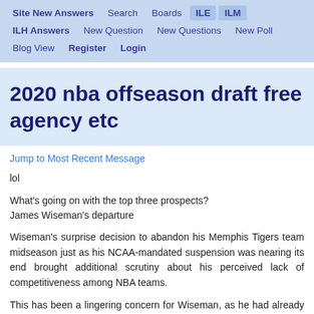Site New Answers  Search  Boards  ILE  ILM  ILH Answers  New Question  New Questions  New Poll  Blog View  Register  Login
2020 nba offseason draft free agency etc
Jump to Most Recent Message
lol
What's going on with the top three prospects?
James Wiseman's departure
Wiseman's surprise decision to abandon his Memphis Tigers team midseason just as his NCAA-mandated suspension was nearing its end brought additional scrutiny about his perceived lack of competitiveness among NBA teams.
This has been a lingering concern for Wiseman, as he had already been prone in the past to pick and choose when to play and whether to operate at maximum